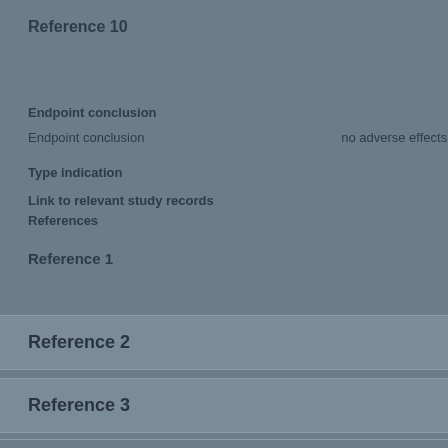Reference 10
Endpoint conclusion
Endpoint conclusion
no adverse effects d
Type indication
Link to relevant study records
References
Reference 1
Reference 2
Reference 3
Reference 4